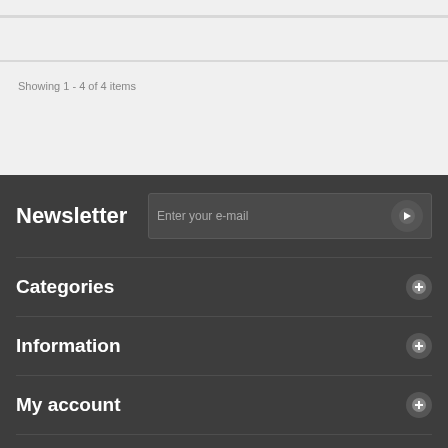Showing 1 - 4 of 4 items
Newsletter
Categories
Information
My account
Store Information